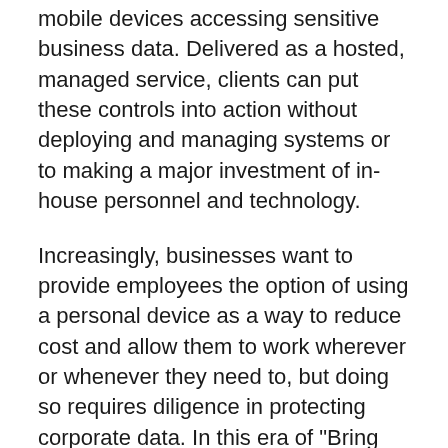mobile devices accessing sensitive business data. Delivered as a hosted, managed service, clients can put these controls into action without deploying and managing systems or to making a major investment of in-house personnel and technology.
Increasingly, businesses want to provide employees the option of using a personal device as a way to reduce cost and allow them to work wherever or whenever they need to, but doing so requires diligence in protecting corporate data. In this era of "Bring Your Own Device" (BYOD), with employees using their own mobile devices for business and personal activity, organizations are now tasked with supporting the new social, virtual, and mobile employee and the applications they access. With mobile threats on the rise, complex IT environments, security risks,